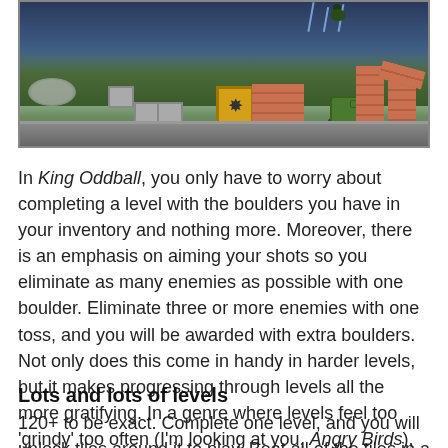[Figure (screenshot): A side-scrolling 2D platformer game screenshot showing a night/dark sky background with rain, trees, a yellow star box, brick blocks, a green tank, and brick towers on the right side. Gray boxes are on the left.]
In King Oddball, you only have to worry about completing a level with the boulders you have in your inventory and nothing more. Moreover, there is an emphasis on aiming your shots so you eliminate as many enemies as possible with one boulder. Eliminate three or more enemies with one toss, and you will be awarded with extra boulders. Not only does this come in handy in harder levels, but it makes progressing through levels all the more gratifying. In a genre where levels feel too 'grindy' too often (I'm looking at you, Angry Birds), King Oddball fixes this problem and actually moves the genre forward. Way to go, 10Tons!
Lots and lots of levels
120+ to be exact. Complete one level, and you will unlock tiles around it to play. Beat all of the tiles in a grid, and you will move on to the next grid to continue the game...